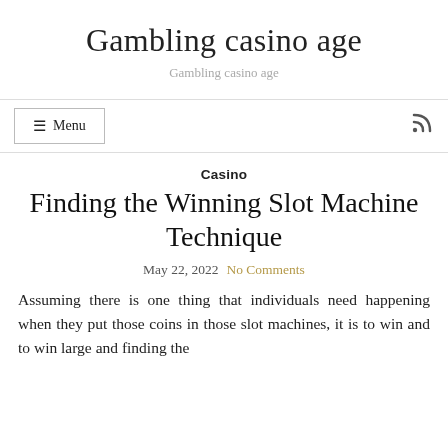Gambling casino age
Gambling casino age
☰ Menu
Casino
Finding the Winning Slot Machine Technique
May 22, 2022   No Comments
Assuming there is one thing that individuals need happening when they put those coins in those slot machines, it is to win and to win large and finding the